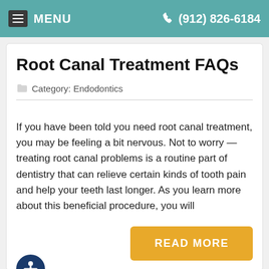MENU  (912) 826-6184
Root Canal Treatment FAQs
Category: Endodontics
If you have been told you need root canal treatment, you may be feeling a bit nervous. Not to worry — treating root canal problems is a routine part of dentistry that can relieve certain kinds of tooth pain and help your teeth last longer. As you learn more about this beneficial procedure, you will
READ MORE